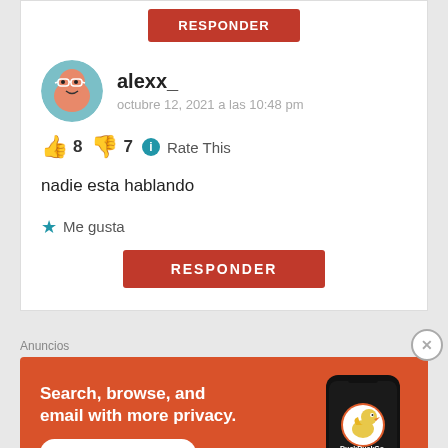[Figure (illustration): User avatar: cartoon face with glasses, reddish skin, on teal/green circular background]
alexx_
octubre 12, 2021 a las 10:48 pm
👍 8 👎 7 ℹ Rate This
nadie esta hablando
★ Me gusta
RESPONDER
Anuncios
[Figure (screenshot): DuckDuckGo advertisement banner: orange background, text 'Search, browse, and email with more privacy. All in One Free App' with phone showing DuckDuckGo logo]